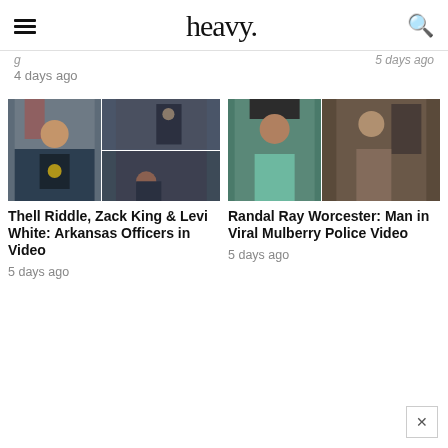heavy.
4 days ago
[Figure (photo): Two photos side by side: left shows a police officer in uniform with US flag, right shows two images of an arrest scene]
Thell Riddle, Zack King & Levi White: Arkansas Officers in Video
5 days ago
[Figure (photo): Two photos side by side: left shows a man with a dark cap and teal shirt, right shows a shirtless man taking a mirror selfie]
Randal Ray Worcester: Man in Viral Mulberry Police Video
5 days ago